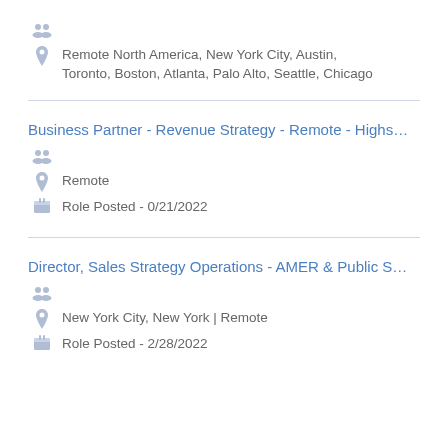Remote North America, New York City, Austin, Toronto, Boston, Atlanta, Palo Alto, Seattle, Chicago
Business Partner - Revenue Strategy - Remote - Highs...
Remote
Role Posted - 0/21/2022
Director, Sales Strategy Operations - AMER & Public S...
New York City, New York | Remote
Role Posted - 2/28/2022